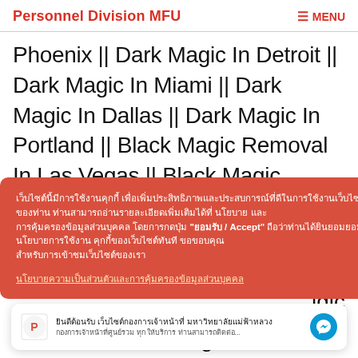Personnel Division MFU | MENU
Phoenix || Dark Magic In Detroit || Dark Magic In Miami || Dark Magic In Dallas || Dark Magic In Portland || Black Magic Removal In Las Vegas || Black Magic
[Cookie consent banner in Thai] ยอมรับ / Accept [link in Thai]
[Figure (screenshot): Notification bar with Personnel Division logo, Thai text notification, and Messenger icon]
[continued page text] ...igic ... Black Magic...